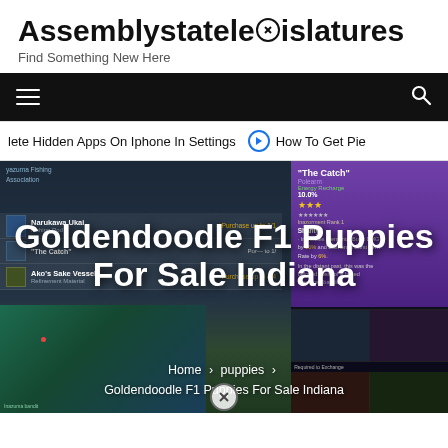Assemblystatelegislatures
Find Something New Here
Navigation bar with hamburger menu and search icon
lete Hidden Apps On Iphone In Settings  ➤  How To Get Pie
[Figure (screenshot): Genshin Impact game shop screenshot showing items: Narukawa Ukai (Fishing Rod, Purchase up to 1/1), The Catch (Polearm, Energy Recharge 10.0%, 3 stars), Ako's Sake Vessel (Refinement Material, Purchase up to 4/4), with a Teyvat map in the lower left and item detail panel on the right showing Shanty polearm stats.]
Goldendoodle F1 Puppies For Sale Indiana
Home > puppies > Goldendoodle F1 Puppies For Sale Indiana